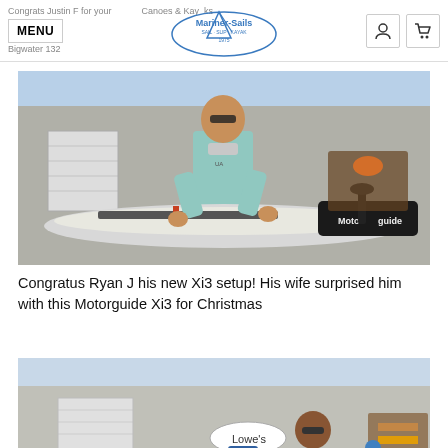Congrats Justin F for your ... Canoes & Kayaks | MENU | Bigwater 132 | Mariner-Sails logo
[Figure (photo): Man in light blue t-shirt and sunglasses standing behind a kayak with a Motorguide Xi3 trolling motor setup, in a marina/store parking lot]
Congratus Ryan J his new Xi3 setup! His wife surprised him with this Motorguide Xi3 for Christmas
[Figure (photo): Man in dark jacket standing in front of a marine store exterior with kayaks and canoes on racks, partially visible]